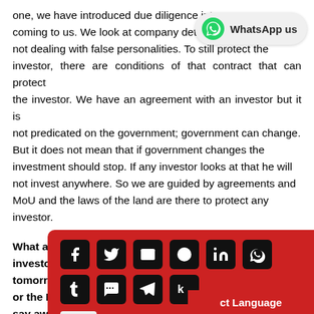one, we have introduced due diligence into investors coming to us. We look at company details to ensure we are not dealing with false personalities. To still protect the investor, there are conditions of that contract that can protect the investor. We have an agreement with an investor but it is not predicated on the government; government can change. But it does not mean that if government changes the investment should stop. If any investor looks at that he will not invest anywhere. So we are guided by agreements and MoU and the laws of the land are there to protect any investor.
What are the legal safeguards that would assure investors that if Senator Bala Mohammed goes tomorrow or the President goes, the next administration will not say away with these projects?
What guides ... the laws of that country. ... entered into by the parties. T... ms and term of years withi...
[Figure (screenshot): WhatsApp us button overlay in top right corner]
[Figure (screenshot): Social media share overlay with icons for Facebook, Twitter, Email, Reddit, LinkedIn, WhatsApp, Tumblr, SMS, Telegram, Kik, and a Share button with thumbnail]
[Figure (screenshot): Select Language red bar at bottom right]